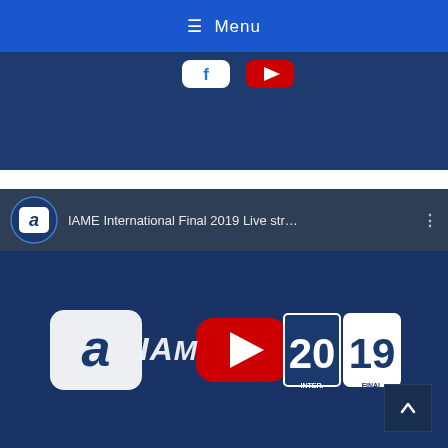≡ Menu
[Figure (screenshot): Top portion of a web page showing partial YouTube video embed with IAME logo and red YouTube play button icon on dark blue background]
[Figure (screenshot): YouTube video embed showing IAME International Final 2019 Live str... with IAME logo, YouTube play button, and IAME International Final 2019 branding on dark blue background. Includes back-to-top button in lower right.]